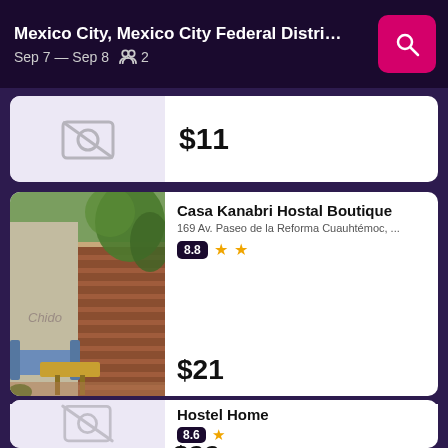Mexico City, Mexico City Federal District, Mexi... Sep 7 — Sep 8  2
[Figure (screenshot): Hotel listing card 1: no photo available, price $11]
$11
[Figure (photo): Outdoor patio of Casa Kanabri Hostal Boutique with plants and seating]
Casa Kanabri Hostal Boutique
169 Av. Paseo de la Reforma Cuauhtémoc, ...
8.8 ★★
$21
Hostel Home
Tabasco 303, Mexico City, Mexico City Fe...
8.6 ★
$22